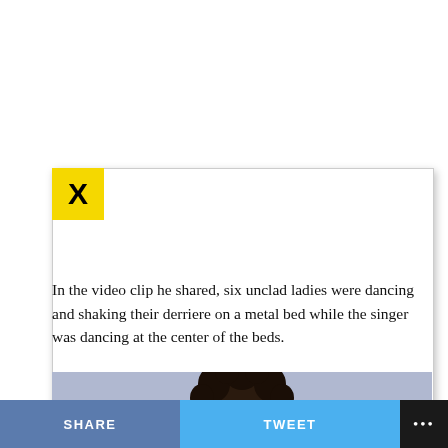[Figure (screenshot): Yellow close button with X mark at top-left of modal card]
In the video clip he shared, six unclad ladies were dancing and shaking their derriere on a metal bed while the singer was dancing at the center of the beds.
[Figure (photo): Partial photo of a person with curly dark hair against a light blue-gray background, cropped to show top of head]
SHARE   TWEET   ...